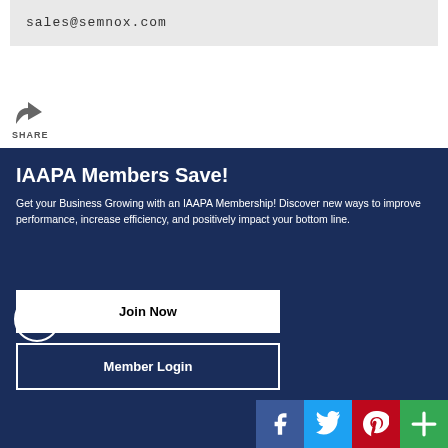sales@semnox.com
SHARE
IAAPA Members Save!
Get your Business Growing with an IAAPA Membership! Discover new ways to improve performance, increase efficiency, and positively impact your bottom line.
Join Now
Member Login